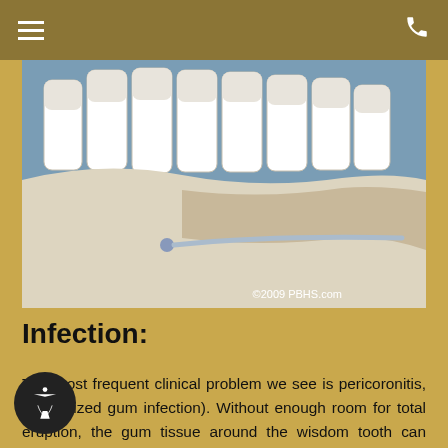[Figure (illustration): Dental illustration showing a cross-section of wisdom teeth and gum tissue with a curved instrument near the gum line, labeled ©2009 PBHS.com]
Infection:
The most frequent clinical problem we see is pericoronitis, (a localized gum infection). Without enough room for total eruption, the gum tissue around the wisdom tooth can become irritated and infected, resulting in recurrent pain, swelling, and problems with chewing and/or swallowing.